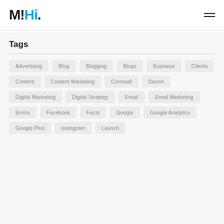M!Hi.
Tags
Advertising
Blog
Blogging
Blogs
Business
Clients
Content
Content Marketing
Cornwall
Devon
Digital Marketing
Digital Strategy
Email
Email Marketing
Errors
Facebook
Facts
Google
Google Analytics
Google Plus
Instagram
Launch